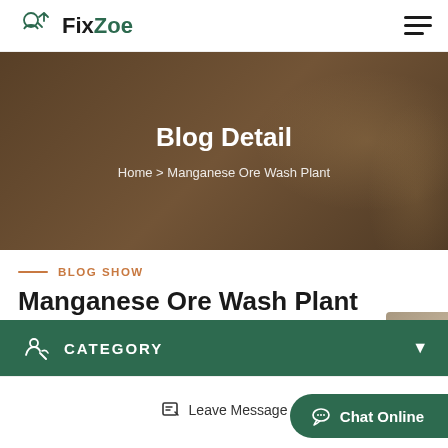FixZoe
[Figure (screenshot): Hero banner with blurred industrial background showing 'Blog Detail' title and breadcrumb navigation 'Home > Manganese Ore Wash Plant']
Blog Detail
Home > Manganese Ore Wash Plant
BLOG SHOW
Manganese Ore Wash Plant
CATEGORY
Leave Message
Chat Online